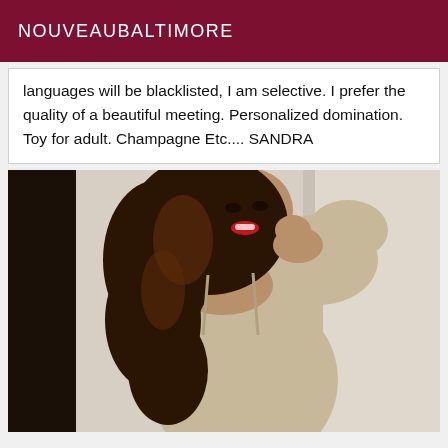NOUVEAUBALTIMORE
languages will be blacklisted, I am selective. I prefer the quality of a beautiful meeting. Personalized domination. Toy for adult. Champagne Etc.... SANDRA
[Figure (photo): A woman with long curly brown hair wearing a beige off-shoulder fitted dress, posing with her arms raised, smiling with red lipstick, photographed against a light wall background.]